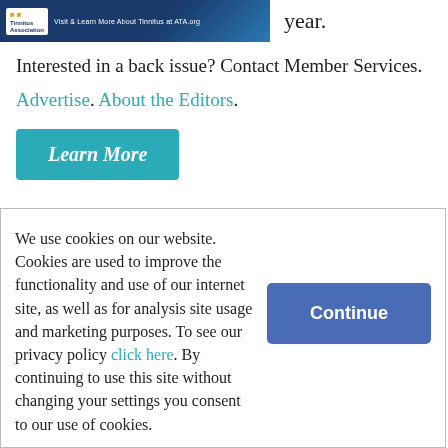[Figure (illustration): Tinnitus Association banner/advertisement image with logo and text 'Visit & Learn More About Tinnitus at ATA.org']
year.
Interested in a back issue? Contact Member Services.
Advertise. About the Editors.
Learn More
We use cookies on our website. Cookies are used to improve the functionality and use of our internet site, as well as for analysis site usage and marketing purposes. To see our privacy policy click here. By continuing to use this site without changing your settings you consent to our use of cookies.
Continue